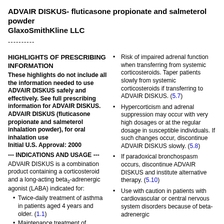ADVAIR DISKUS- fluticasone propionate and salmeterol powder
GlaxoSmithKline LLC
----------
HIGHLIGHTS OF PRESCRIBING INFORMATION
These highlights do not include all the information needed to use ADVAIR DISKUS safely and effectively. See full prescribing information for ADVAIR DISKUS.
ADVAIR DISKUS (fluticasone propionate and salmeterol inhalation powder), for oral inhalation use
Initial U.S. Approval: 2000
--- INDICATIONS AND USAGE ---
ADVAIR DISKUS is a combination product containing a corticosteroid and a long-acting beta2-adrenergic agonist (LABA) indicated for:
Twice-daily treatment of asthma in patients aged 4 years and older. (1.1)
Maintenance treatment of
Risk of impaired adrenal function when transferring from systemic corticosteroids. Taper patients slowly from systemic corticosteroids if transferring to ADVAIR DISKUS. (5.7)
Hypercorticism and adrenal suppression may occur with very high dosages or at the regular dosage in susceptible individuals. If such changes occur, discontinue ADVAIR DISKUS slowly. (5.8)
If paradoxical bronchospasm occurs, discontinue ADVAIR DISKUS and institute alternative therapy. (5.10)
Use with caution in patients with cardiovascular or central nervous system disorders because of beta-adrenergic